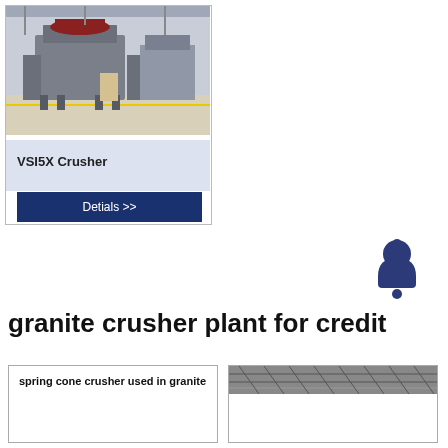[Figure (photo): Industrial VSI5X crusher machinery in a factory setting, large grey metal equipment on factory floor]
VSI5X Crusher
Detials >>
[Figure (illustration): Notification/alert bell icon in dark navy blue color]
granite crusher plant for credit
spring cone crusher used in granite
[Figure (photo): Close-up photo of industrial crusher or conveyor machinery parts]